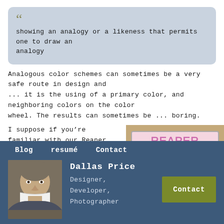" showing an analogy or a likeness that permits one to draw an analogy
Analogous color schemes can sometimes be a very safe route in design and ... it is the using of a primary color, and neighboring colors on the color wheel. The results can sometimes be ... boring.
I suppose if you’re familiar with our Reaper Wrap you could say that this is Analogous (with black). The ...
[Figure (photo): Reaper Wrap sign on corkboard background, pink text on light pink background reading REAPER WRAP with subtitle Wrapping Up Great Savings For You From Area Merchants]
Blog
resumé
Contact
[Figure (photo): Headshot of Dallas Price, a man with short gray-brown hair wearing a white face mask]
Dallas Price
Designer,
Developer,
Photographer
Contact